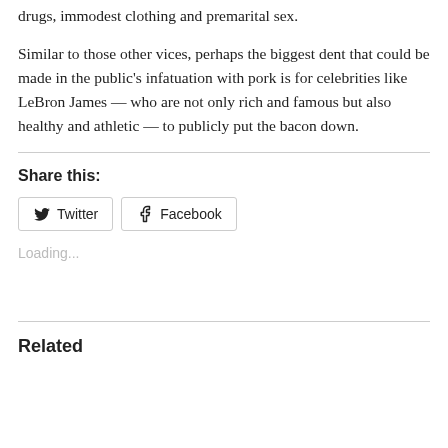drugs, immodest clothing and premarital sex.
Similar to those other vices, perhaps the biggest dent that could be made in the public's infatuation with pork is for celebrities like LeBron James — who are not only rich and famous but also healthy and athletic — to publicly put the bacon down.
Share this:
Loading...
Related